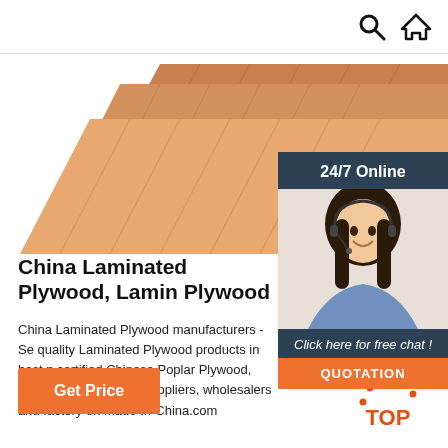Search and Home icons
[Figure (photo): Stacked laminated plywood sheets showing wood grain texture, photographed from above at an angle]
[Figure (photo): 24/7 Online chat widget with a smiling female customer service representative wearing a headset. Includes 'Click here for free chat!' text and orange QUOTATION button.]
China Laminated Plywood, Lamin Plywood
China Laminated Plywood manufacturers - Se quality Laminated Plywood products in best p certified Chinese Poplar Plywood, Commercial Plywood suppliers, wholesalers and factory on Made-in-China.com
[Figure (other): Orange 'Get Price' button]
[Figure (other): Orange TOP button with dotted arc above it indicating scroll to top]